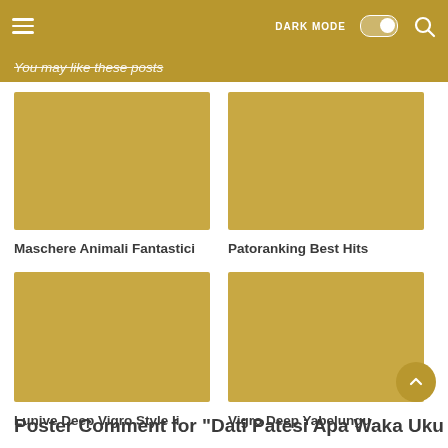≡   DARK MODE  🔍
You may like these posts
[Figure (other): Placeholder card image for Maschere Animali Fantastici]
Maschere Animali Fantastici
[Figure (other): Placeholder card image for Patoranking Best Hits]
Patoranking Best Hits
[Figure (other): Placeholder card image for Lunive Deep Vigro Style Ii]
Lunive Deep Vigro Style Ii
[Figure (other): Placeholder card image for Vigro Deep Yabelungu]
Vigro Deep Yabelungu
Poster Comment for "Dati Patesi Apa Waka Uku...